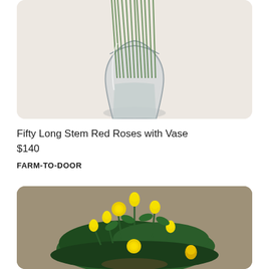[Figure (photo): A glass vase filled with long green rose stems arranged diagonally, on a beige/cream background. The vase is clear glass with a flared top.]
Fifty Long Stem Red Roses with Vase
$140
FARM-TO-DOOR
[Figure (photo): A miniature yellow rose bush plant with multiple yellow roses in various stages of bloom set against a warm taupe/olive background.]